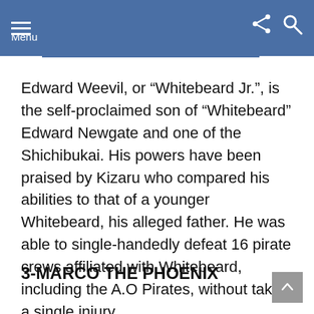Menu
Edward Weevil, or “Whitebeard Jr.”, is the self-proclaimed son of “Whitebeard” Edward Newgate and one of the Shichibukai. His powers have been praised by Kizaru who compared his abilities to that of a younger Whitebeard, his alleged father. He was able to single-handedly defeat 16 pirate crews affiliated with Whitebeard, including the A.O Pirates, without taking a single injury.
3-MARCO THE PHOENIX